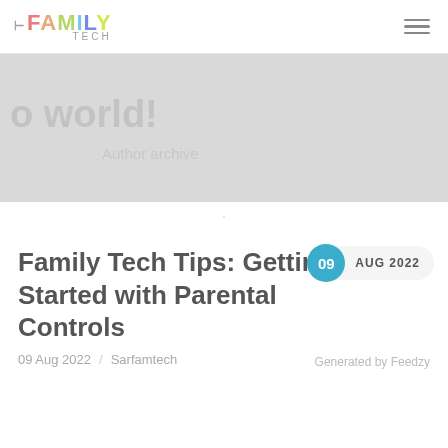FAMILY TECH
o world!
Author archive
·
Family Tech Tips: Getting Started with Parental Controls
09 AUG 2022
09 Aug 2022 / Sarfamtech
Generated by Feedzy